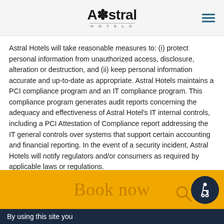Astral Hotels
Astral Hotels will take reasonable measures to: (i) protect personal information from unauthorized access, disclosure, alteration or destruction, and (ii) keep personal information accurate and up-to-date as appropriate. Astral Hotels maintains a PCI compliance program and an IT compliance program. This compliance program generates audit reports concerning the adequacy and effectiveness of Astral Hotel's IT internal controls, including a PCI Attestation of Compliance report addressing the IT general controls over systems that support certain accounting and financial reporting. In the event of a security incident, Astral Hotels will notify regulators and/or consumers as required by applicable laws or regulations.
Book now
By using this site you